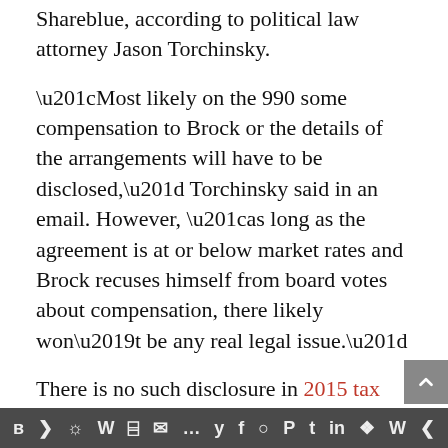Shareblue, according to political law attorney Jason Torchinsky.
“Most likely on the 990 some compensation to Brock or the details of the arrangements will have to be disclosed,” Torchinsky said in an email. However, “as long as the agreement is at or below market rates and Brock recuses himself from board votes about compensation, there likely won’t be any real legal issue.”
There is no such disclosure in 2015 tax filings for the American Bridge 21st Century Foundation, the group’s dark money arm, but that filing only covers a month of Brock’s Shareblue ownership,
Social share icons bar: VK, Telegram, Reddit, WordPress, WhatsApp, Email, Buffer, Twitter, Facebook, Instagram, Pinterest, Tumblr, LinkedIn, Gift, Wordpress, Share